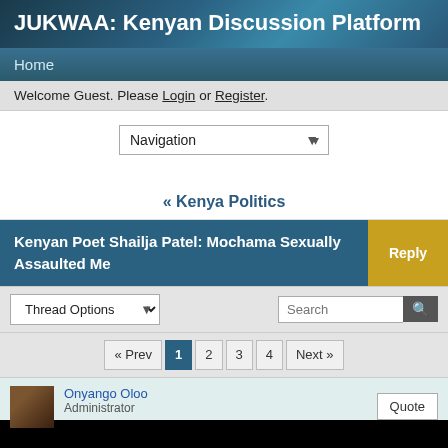JUKWAA: Kenyan Discussion Platform
Home
Welcome Guest. Please Login or Register.
[Figure (screenshot): Navigation dropdown selector]
« Kenya Politics
Kenyan Poet Shailja Patel: Mochama Sexually Assaulted Me
Thread Options dropdown and Search bar
« Prev  1  2  3  4  Next »
Onyango Oloo
Administrator